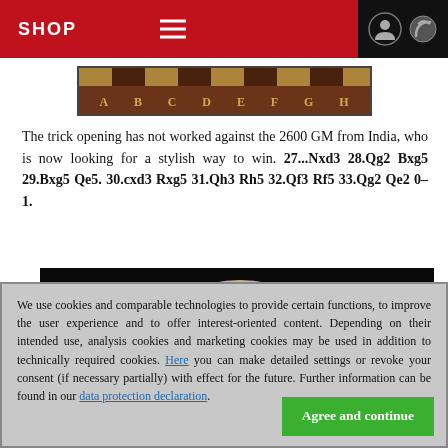SHOP
[Figure (other): Chess board strip showing columns labeled A B C D E F G H]
The trick opening has not worked against the 2600 GM from India, who is now looking for a stylish way to win. 27...Nxd3 28.Qg2 Bxg5 29.Bxg5 Qe5. 30.cxd3 Rxg5 31.Qh3 Rh5 32.Qf3 Rf5 33.Qg2 Qe2 0–1.
[Figure (photo): Photo of an elderly man with grey/white hair, photographed against a dark background, only the top of the head and upper face visible.]
We use cookies and comparable technologies to provide certain functions, to improve the user experience and to offer interest-oriented content. Depending on their intended use, analysis cookies and marketing cookies may be used in addition to technically required cookies. Here you can make detailed settings or revoke your consent (if necessary partially) with effect for the future. Further information can be found in our data protection declaration.